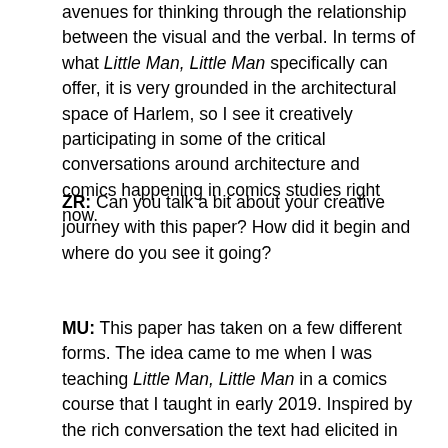avenues for thinking through the relationship between the visual and the verbal. In terms of what Little Man, Little Man specifically can offer, it is very grounded in the architectural space of Harlem, so I see it creatively participating in some of the critical conversations around architecture and comics happening in comics studies right now.
ZR: Can you talk a bit about your creative journey with this paper? How did it begin and where do you see it going?
MU: This paper has taken on a few different forms. The idea came to me when I was teaching Little Man, Little Man in a comics course that I taught in early 2019. Inspired by the rich conversation the text had elicited in the classroom, I created an abstract with a rough sketch of the project and its argument and submitted it for consideration for the 2020 International Comic Arts...